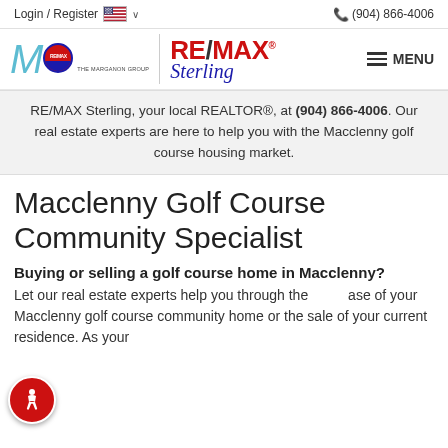Login / Register  🇺🇸 ∨   📞 (904) 866-4006
[Figure (logo): The Marganon Group RE/MAX Sterling logo with stylized M and RE/MAX badge on left, RE/MAX Sterling text on right, separated by vertical divider. MENU hamburger icon on far right.]
RE/MAX Sterling, your local REALTOR®, at (904) 866-4006. Our real estate experts are here to help you with the Macclenny golf course housing market.
Macclenny Golf Course Community Specialist
Buying or selling a golf course home in Macclenny?
Let our real estate experts help you through the purchase of your Macclenny golf course community home or the sale of your current residence. As your